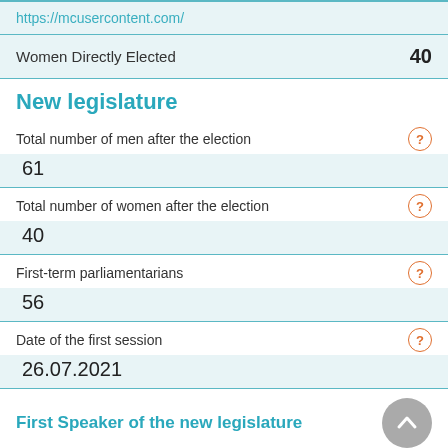https://mcusercontent.com/
| Field | Value |
| --- | --- |
| Women Directly Elected | 40 |
New legislature
| Field | Value |
| --- | --- |
| Total number of men after the election | 61 |
| Total number of women after the election | 40 |
| First-term parliamentarians | 56 |
| Date of the first session | 26.07.2021 |
First Speaker of the new legislature
First Speaker of the new legislature
Igor Grosu (Male)